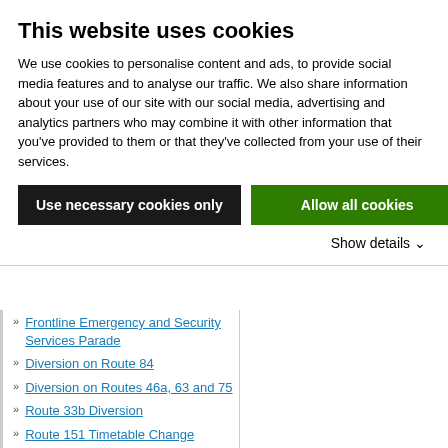This website uses cookies
We use cookies to personalise content and ads, to provide social media features and to analyse our traffic. We also share information about your use of our site with our social media, advertising and analytics partners who may combine it with other information that you’ve provided to them or that they’ve collected from your use of their services.
Use necessary cookies only
Allow all cookies
Show details ⌄
Frontline Emergency and Security Services Parade
Diversion on Route 84
Diversion on Routes 46a, 63 and 75
Route 33b Diversion
Route 151 Timetable Change
Route 4 Timetable Change
Diversion on all Routes heading Southbound
Diversion on Routes 27, 54a & 65
Diversion on Routes 4, 7 & 84/a